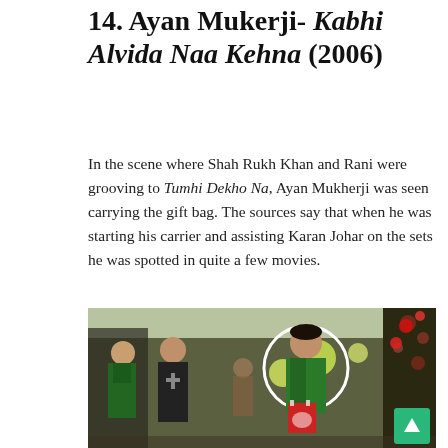14. Ayan Mukerji- Kabhi Alvida Naa Kehna (2006)
In the scene where Shah Rukh Khan and Rani were grooving to Tumhi Dekho Na, Ayan Mukherji was seen carrying the gift bag. The sources say that when he was starting his carrier and assisting Karan Johar on the sets he was spotted in quite a few movies.
[Figure (photo): A movie still from Kabhi Alvida Naa Kehna showing people dancing in a decorated hall with Christmas decorations. A young Ayan Mukerji is circled in white, wearing a green jacket and holding a red gift bag.]